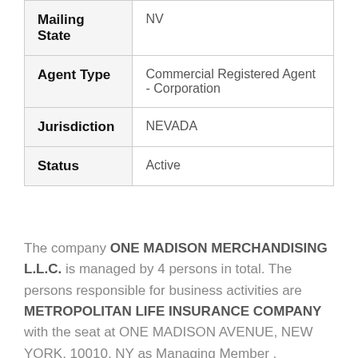| Mailing State | NV |
| Agent Type | Commercial Registered Agent - Corporation |
| Jurisdiction | NEVADA |
| Status | Active |
The company ONE MADISON MERCHANDISING L.L.C. is managed by 4 persons in total. The persons responsible for business activities are METROPOLITAN LIFE INSURANCE COMPANY with the seat at ONE MADISON AVENUE, NEW YORK, 10010, NY as Managing Member , METROPOLITAN LIFE